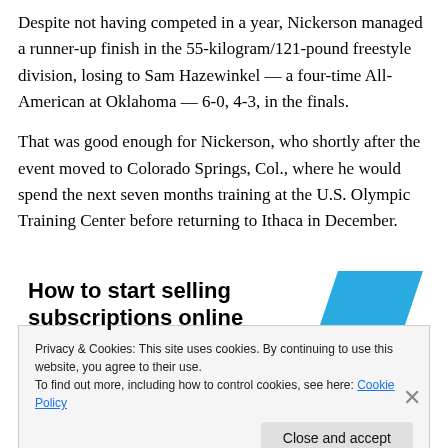Despite not having competed in a year, Nickerson managed a runner-up finish in the 55-kilogram/121-pound freestyle division, losing to Sam Hazewinkel — a four-time All-American at Oklahoma — 6-0, 4-3, in the finals.
That was good enough for Nickerson, who shortly after the event moved to Colorado Springs, Col., where he would spend the next seven months training at the U.S. Olympic Training Center before returning to Ithaca in December.
[Figure (infographic): Partial advertisement banner showing bold text 'How to start selling subscriptions online' with a cyan/blue quadrilateral shape on the right side]
Privacy & Cookies: This site uses cookies. By continuing to use this website, you agree to their use.
To find out more, including how to control cookies, see here: Cookie Policy